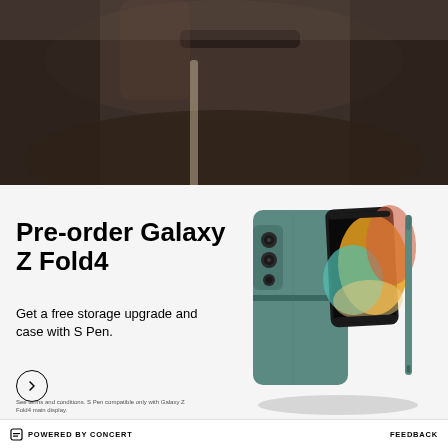[Figure (photo): Dark photograph of a person holding or using a camera/device, dark background with muted tones]
[Figure (logo): SAMSUNG brand logo text in bold uppercase black letters]
Pre-order Galaxy Z Fold4
Get a free storage upgrade and case with S Pen.
[Figure (photo): Samsung Galaxy Z Fold4 phone shown in teal/grayish-green color, folded partially open showing colorful display, with S Pen stylus beside it and a protective case]
See terms and conditions. S Pen compatible only with Galaxy Z Fold4 main display.
POWERED BY CONCERT    FEEDBACK